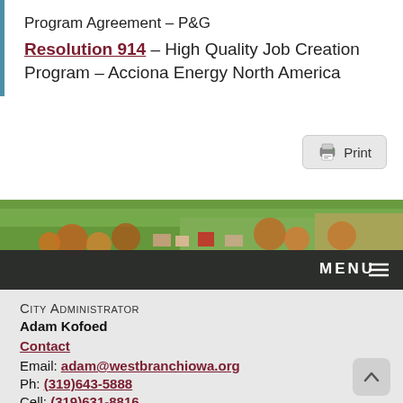Program Agreement – P&G
Resolution 914 – High Quality Job Creation Program – Acciona Energy North America
[Figure (screenshot): Print button with printer icon]
[Figure (photo): Aerial photograph of a small town with green fields and buildings, autumn foliage visible]
City Administrator
Adam Kofoed
Contact
Email: adam@westbranchiowa.org
Ph: (319)643-5888
Cell: (319)631-8816